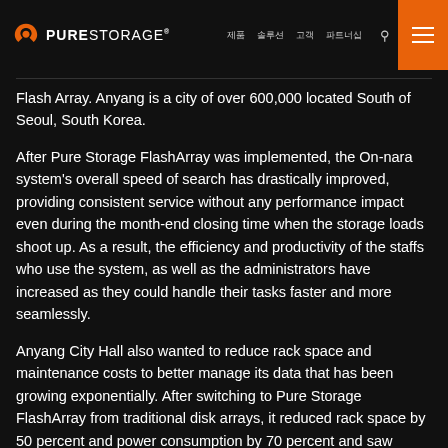PURE STORAGE
Flash Array. Anyang is a city of over 600,000 located South of Seoul, South Korea.
After Pure Storage FlashArray was implemented, the On-nara system's overall speed of search has drastically improved, providing consistent service without any performance impact even during the month-end closing time when the storage loads shoot up. As a result, the efficiency and productivity of the staffs who use the system, as well as the administrators have increased as they could handle their tasks faster and more seamlessly.
Anyang City Hall also wanted to reduce rack space and maintenance costs to better manage its data that has been growing exponentially. After switching to Pure Storage FlashArray from traditional disk arrays, it reduced rack space by 50 percent and power consumption by 70 percent and saw significant TCO reduction. Also, Anyang city dramatically reduced data using Pure Storage's industry-leading inline data compression and deduplication and maximized the storage effici…